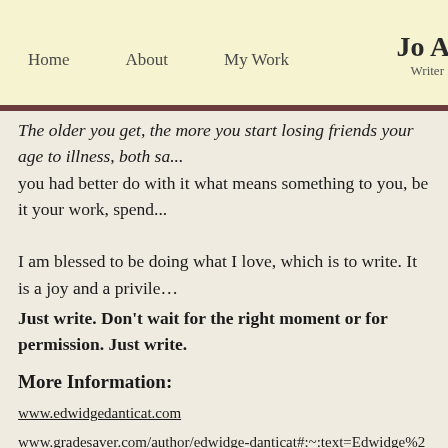Home   About   My Work   Jo Al... Writer
The older you get, the more you start losing friends your age to illness, both sa... you had better do with it what means something to you, be it your work, spend...
I am blessed to be doing what I love, which is to write. It is a joy and a privile... Just write. Don't wait for the right moment or for permission. Just write.
More Information:
www.edwidgedanticat.com
www.gradesaver.com/author/edwidge-danticat#:~:text=Edwidge%20Danticat9
aalbc.com/authors/author.php?author_name=Edwidge+Danticat
Share this:
[Figure (infographic): Social sharing buttons: Facebook, Twitter, Pinterest, Pocket, Tumblr, LinkedIn, Email, Print]